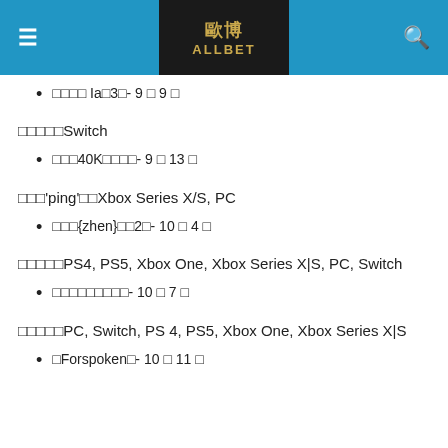≡  歐博 ALLBET  🔍
□□□□ Ia□3□- 9 □ 9 □
□□□□□Switch
□□□40K□□□□- 9 □ 13 □
□□□'ping'□□Xbox Series X/S, PC
□□□{zhen}□□2□- 10 □ 4 □
□□□□□PS4, PS5, Xbox One, Xbox Series X|S, PC, Switch
□□□□□□□□□- 10 □ 7 □
□□□□□PC, Switch, PS 4, PS5, Xbox One, Xbox Series X|S
□Forspoken□- 10 □ 11 □